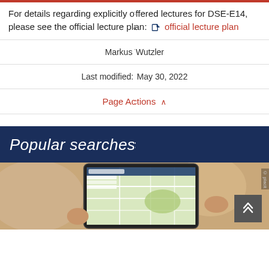For details regarding explicitly offered lectures for DSE-E14, please see the official lecture plan: ➜ official lecture plan
| Markus Wutzler |
| Last modified: May 30, 2022 |
| Page Actions ∧ |
Popular searches
[Figure (photo): A hand holding a smartphone displaying a campus map application, blurred background]